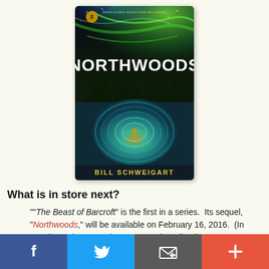[Figure (illustration): Book cover of 'Northwoods' by Bill Schweigart, showing northern lights sky, forest silhouette, and a swirling water vortex with a figure in the center]
What is in store next?
""The Beast of Barcroft" is the first in a series.  Its sequel, "Northwoods," will be available on February 16, 2016.  (In "Northwoods," ex–Delta Force Davis Holland, now an agent for the Customs and Border Protection, is investigating an illegal border crossing and stumbles across a blood-drenched scene of mass murder, barely
[Figure (infographic): Social sharing bar with Facebook, Twitter, email, and plus buttons]